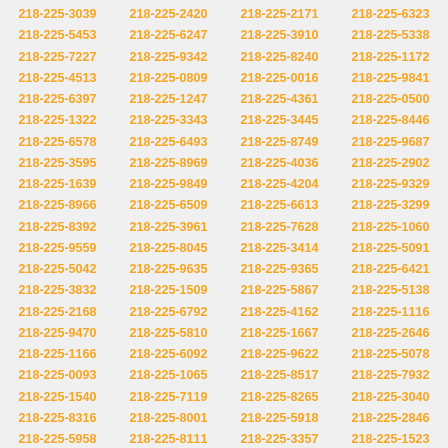218-225-3039
218-225-2420
218-225-2171
218-225-6323
218-225-5453
218-225-6247
218-225-3910
218-225-5338
218-225-7227
218-225-9342
218-225-8240
218-225-1172
218-225-4513
218-225-0809
218-225-0016
218-225-9841
218-225-6397
218-225-1247
218-225-4361
218-225-0500
218-225-1322
218-225-3343
218-225-3445
218-225-8446
218-225-6578
218-225-6493
218-225-8749
218-225-9687
218-225-3595
218-225-8969
218-225-4036
218-225-2902
218-225-1639
218-225-9849
218-225-4204
218-225-9329
218-225-8966
218-225-6509
218-225-6613
218-225-3299
218-225-8392
218-225-3961
218-225-7628
218-225-1060
218-225-9559
218-225-8045
218-225-3414
218-225-5091
218-225-5042
218-225-9635
218-225-9365
218-225-6421
218-225-3832
218-225-1509
218-225-5867
218-225-5138
218-225-2168
218-225-6792
218-225-4162
218-225-1116
218-225-9470
218-225-5810
218-225-1667
218-225-2646
218-225-1166
218-225-6092
218-225-9622
218-225-5078
218-225-0093
218-225-1065
218-225-8517
218-225-7932
218-225-1540
218-225-7119
218-225-8265
218-225-3040
218-225-8316
218-225-8001
218-225-5918
218-225-2846
218-225-5958
218-225-8111
218-225-3357
218-225-1523
218-225-4135
218-225-9970
218-225-2880
218-225-5928
218-225-5368
218-225-1462
218-225-5013
218-225-4399
218-225-2644
218-225-6769
218-225-7987
218-225-4522
218-225-6638
218-225-6755
218-225-6806
218-225-7857
218-225-3736
218-225-4268
218-225-3613
218-225-3294
218-225-7584
218-225-5370
218-225-7872
218-225-2395
218-225-9109
218-225-7474
218-225-3677
218-225-7721
218-225-2904
218-225-9117
218-225-8796
218-225-5720
218-225-2925
218-225-3009
218-225-4643
218-225-3604